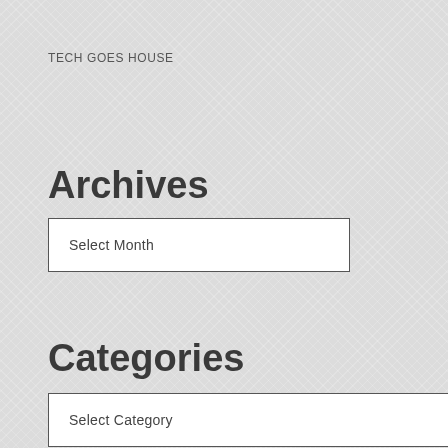TECH GOES HOUSE
Archives
Select Month
Categories
Select Category